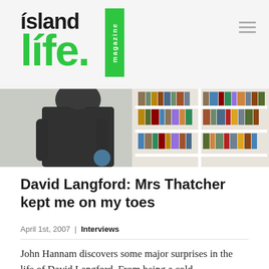[Figure (logo): Island Life Magazine logo with green accent color. 'ísland' in black bold, 'lífe.' in large green bold, with 'magazine' in white text on green vertical bar.]
[Figure (photo): A person seen from behind standing in front of a large bookshelf filled with books.]
David Langford: Mrs Thatcher kept me on my toes
April 1st, 2007 | Interviews
John Hannam discovers some major surprises in the life of David Langford. From being a cold